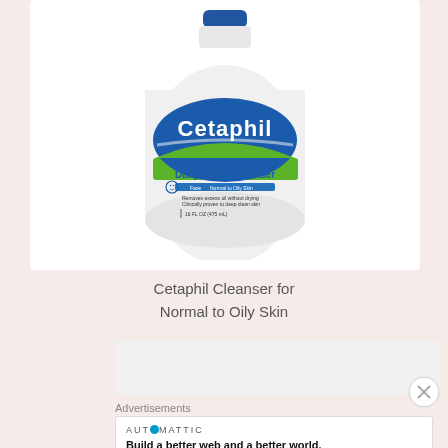[Figure (photo): Cetaphil Daily Facial Cleanser bottle for Normal to Oily Skin, 16 FL OZ (475 mL), white pump bottle with blue and green label]
Cetaphil Cleanser for Normal to Oily Skin
[Figure (other): Advertisement banner placeholder (gray rectangle)]
Advertisements
[Figure (other): Automattic advertisement: 'Build a better web and a better world.' with Automattic logo]